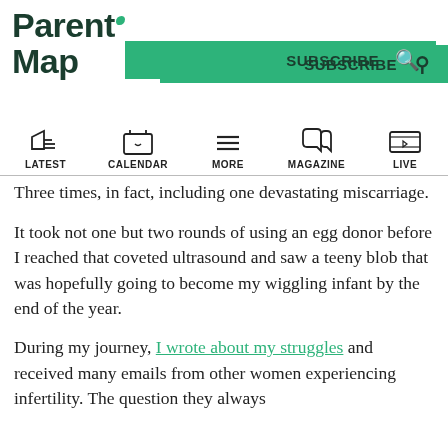ParentMap
SUBSCRIBE  🔍
LATEST  CALENDAR  MORE  MAGAZINE  LIVE
Three times, in fact, including one devastating miscarriage.
It took not one but two rounds of using an egg donor before I reached that coveted ultrasound and saw a teeny blob that was hopefully going to become my wiggling infant by the end of the year.
During my journey, I wrote about my struggles and received many emails from other women experiencing infertility. The question they always